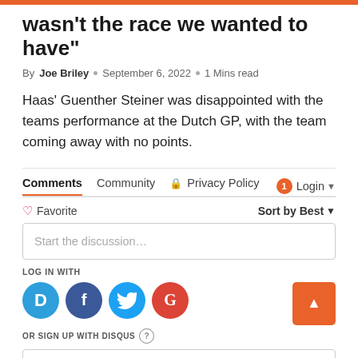wasn't the race we wanted to have"
By Joe Briley  ○  September 6, 2022  ○  1 Mins read
Haas' Guenther Steiner was disappointed with the teams performance at the Dutch GP, with the team coming away with no points.
Comments  Community  🔒 Privacy Policy  1 Login
♡ Favorite   Sort by Best
Start the discussion…
LOG IN WITH
[Figure (infographic): Social login icons: Disqus (blue D), Facebook (dark blue f), Twitter (light blue bird), Google (red G)]
OR SIGN UP WITH DISQUS ?
Name